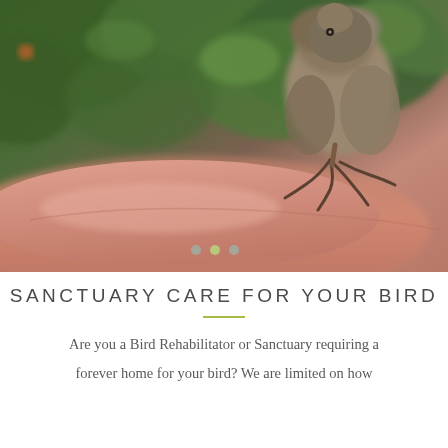[Figure (photo): A small baby bird (fledgling) perched on a person's finger/hand. The bird has fluffy brown and gray feathers on top with tiny clawed feet gripping the skin. Green foliage is visible in the blurred background. There are three slider indicator dots visible at the bottom of the image.]
SANCTUARY CARE FOR YOUR BIRD
Are you a Bird Rehabilitator or Sanctuary requiring a forever home for your bird? We are limited on how